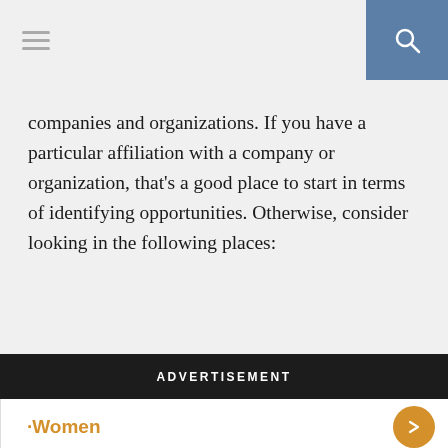Navigation bar with hamburger menu and search button
companies and organizations. If you have a particular affiliation with a company or organization, that's a good place to start in terms of identifying opportunities. Otherwise, consider looking in the following places:
ADVERTISEMENT
03. College Scholarships for Women
04. Scholarships for Low-Income Students